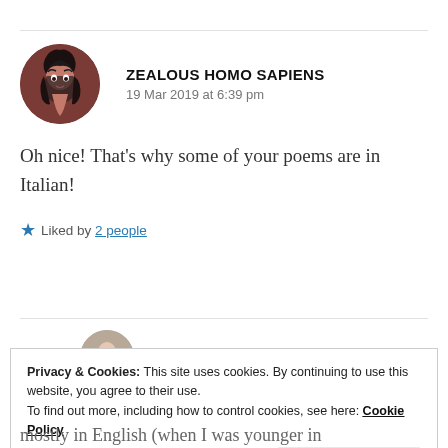ZEALOUS HOMO SAPIENS
19 Mar 2019 at 6:39 pm
Oh nice! That's why some of your poems are in Italian!
★ Liked by 2 people
Privacy & Cookies: This site uses cookies. By continuing to use this website, you agree to their use.
To find out more, including how to control cookies, see here: Cookie Policy
Close and accept
mostly in English (when I was younger in